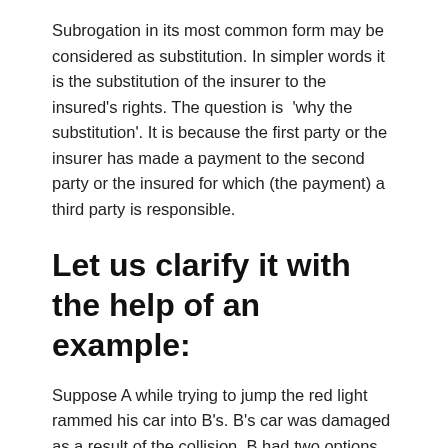Subrogation in its most common form may be considered as substitution. In simpler words it is the substitution of the insurer to the insured's rights. The question is 'why the substitution'. It is because the first party or the insurer has made a payment to the second party or the insured for which (the payment) a third party is responsible.
Let us clarify it with the help of an example:
Suppose A while trying to jump the red light rammed his car into B's. B's car was damaged as a result of the collision. B had two options open before him. He could either sue A for the damages or he could ask his insurer 'C' and collect the insurance sum from him. If he receives it from C, then C is being made to pay a sum